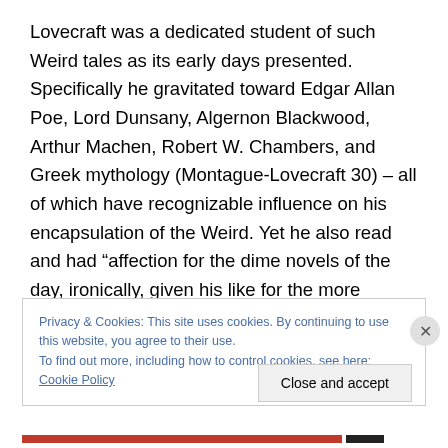Lovecraft was a dedicated student of such Weird tales as its early days presented. Specifically he gravitated toward Edgar Allan Poe, Lord Dunsany, Algernon Blackwood, Arthur Machen, Robert W. Chambers, and Greek mythology (Montague-Lovecraft 30) – all of which have recognizable influence on his encapsulation of the Weird. Yet he also read and had “affection for the dime novels of the day, ironically, given his like for the more highbrow end of literature. He voraciously devoured westerns, detective and espionage stories….” (16).
Privacy & Cookies: This site uses cookies. By continuing to use this website, you agree to their use.
To find out more, including how to control cookies, see here: Cookie Policy